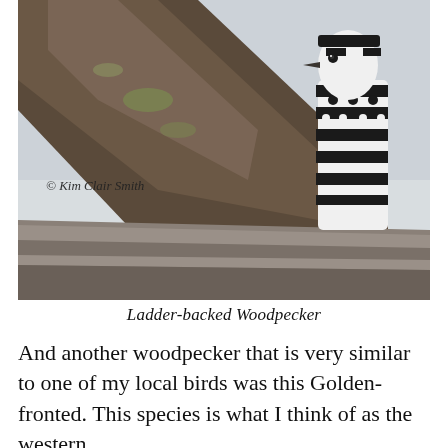[Figure (photo): Photograph of a Ladder-backed Woodpecker perched on a tree branch, showing black and white striped/checkered plumage. The bird is clinging to bark with a large diagonal branch in the foreground. A copyright watermark reads '© Kim Clair Smith' in the lower left of the image.]
Ladder-backed Woodpecker
And another woodpecker that is very similar to one of my local birds was this Golden-fronted. This species is what I think of as the western